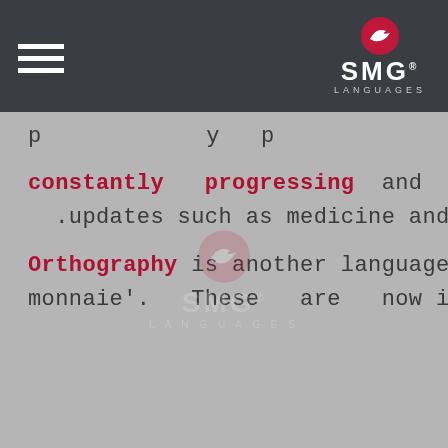SMG Languages
constantly progressing and receiving .updates such as medicine and engineering
Orthography is another language element in constant evolution. This is especially the case with languages that have accents such as French. The French orthography reform in 1990 dictated changes which included the fusion of certain words with hyphens such as 'porte-monnaie'. These are now incorporated in the 'Petit Robert' dictionary and therefore translators should always